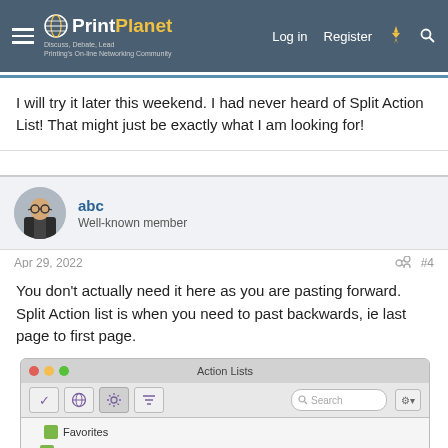PrintPlanet – Discuss, Debate, Lead – Printing's On-line Networking Community | Log in | Register
I will try it later this weekend. I had never heard of Split Action List! That might just be exactly what I am looking for!
abc
Well-known member
Apr 29, 2022 #4
You don't actually need it here as you are pasting forward. Split Action list is when you need to past backwards, ie last page to first page.
[Figure (screenshot): Action Lists panel in a Mac application showing toolbar with checkmark, globe, gear (active), and filter icons, a Search box, and a gear/settings button. List items include Favorites, Recent, Standard (expanded showing Demo and Packaging sub-items).]